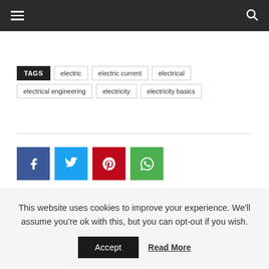Navigation bar with hamburger menu and search icon
TAGS: electric | electric current | electrical | electrical engineering | electricity | electricity basics
[Figure (infographic): Social share buttons: Facebook (blue), Twitter (cyan), Pinterest (red), WhatsApp (green)]
This website uses cookies to improve your experience. We'll assume you're ok with this, but you can opt-out if you wish.
Accept | Read More